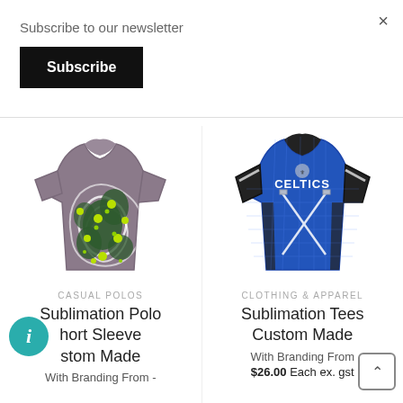Subscribe to our newsletter
Subscribe
×
[Figure (photo): Custom sublimation polo shirt with Aboriginal-style dot painting pattern in green and yellow on grey/purple background]
CASUAL POLOS
Sublimation Polo Short Sleeve Custom Made
With Branding From -
[Figure (photo): Custom sublimation sports tee - blue and black Celtics jersey with crossed swords design]
CLOTHING & APPAREL
Sublimation Tees Custom Made
With Branding From
$26.00 Each ex. gst